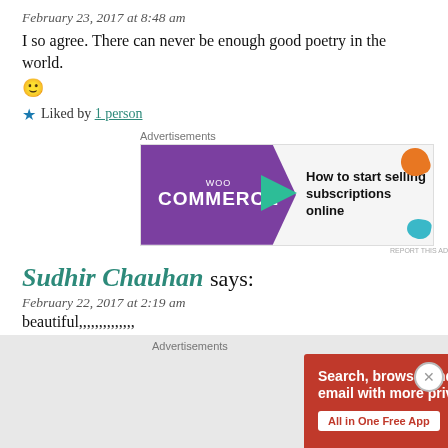February 23, 2017 at 8:48 am
I so agree. There can never be enough good poetry in the world. 🙂
★ Liked by 1 person
[Figure (infographic): WooCommerce advertisement: 'How to start selling subscriptions online']
Sudhir Chauhan says:
February 22, 2017 at 2:19 am
beautiful,,,,,,,,,,,,,,
[Figure (infographic): DuckDuckGo advertisement: 'Search, browse, and email with more privacy. All in One Free App']